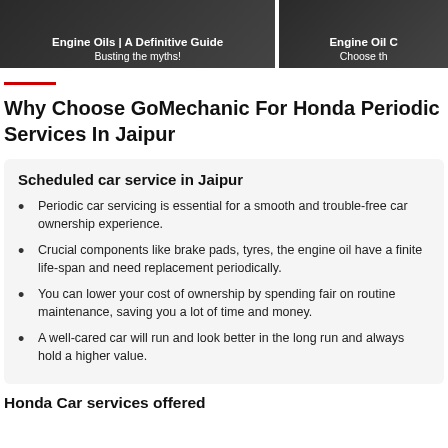[Figure (photo): Two thumbnail images side by side — left: 'Engine Oils | A Definitive Guide' with subtitle 'Busting the myths!'; right: 'Engine Oil C' with subtitle 'Choose th']
Why Choose GoMechanic For Honda Periodic Services In Jaipur
Scheduled car service in Jaipur
Periodic car servicing is essential for a smooth and trouble-free car ownership experience.
Crucial components like brake pads, tyres, the engine oil have a finite life-span and need replacement periodically.
You can lower your cost of ownership by spending fair on routine maintenance, saving you a lot of time and money.
A well-cared car will run and look better in the long run and always hold a higher value.
Honda Car services offered